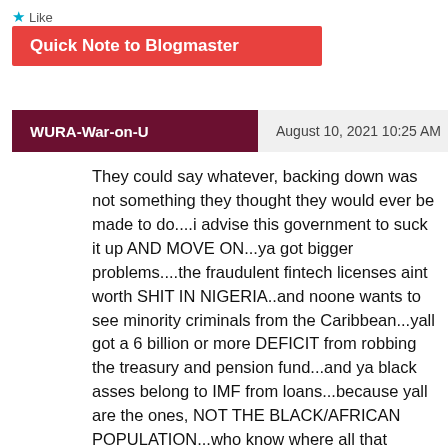Like
Quick Note to Blogmaster
WURA-War-on-U    August 10, 2021 10:25 AM
They could say whatever, backing down was not something they thought they would ever be made to do....i advise this government to suck it up AND MOVE ON...ya got bigger problems....the fraudulent fintech licenses aint worth SHIT IN NIGERIA..and noone wants to see minority criminals from the Caribbean...yall got a 6 billion or more DEFICIT from robbing the treasury and pension fund...and ya black asses belong to IMF from loans...because yall are the ones, NOT THE BLACK/AFRICAN POPULATION...who know where all that money disappeared to....and HAVE TO ANSWER FOR IT.